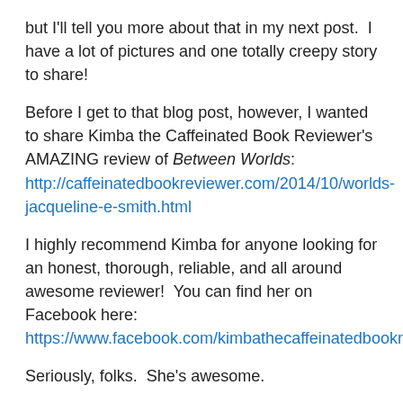but I'll tell you more about that in my next post.  I have a lot of pictures and one totally creepy story to share!
Before I get to that blog post, however, I wanted to share Kimba the Caffeinated Book Reviewer's AMAZING review of Between Worlds: http://caffeinatedbookreviewer.com/2014/10/worlds-jacqueline-e-smith.html
I highly recommend Kimba for anyone looking for an honest, thorough, reliable, and all around awesome reviewer!  You can find her on Facebook here: https://www.facebook.com/kimbathecaffeinatedbookreviewer
Seriously, folks.  She's awesome.